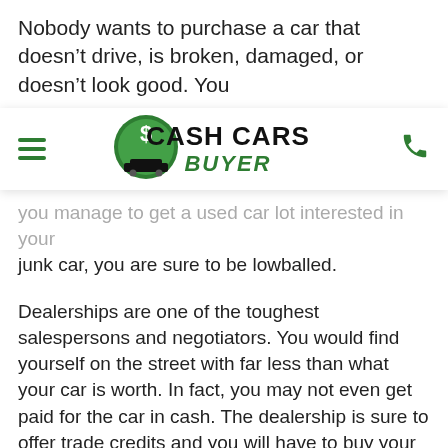Nobody wants to purchase a car that doesn't drive, is broken, damaged, or doesn't look good. You
[Figure (logo): Cash Cars Buyer logo with green circle containing dollar sign, car silhouette, and bold text 'CASH CARS BUYER' with 'BUYER' in green]
you manage to get a used car lot interested in your junk car, you are sure to be lowballed.
Dealerships are one of the toughest salespersons and negotiators. You would find yourself on the street with far less than what your car is worth. In fact, you may not even get paid for the car in cash. The dealership is sure to offer trade credits and you will have to buy your next car from them.
You can do away with all this. The easiest way to sell a car is to find a junkyard that buys cars in